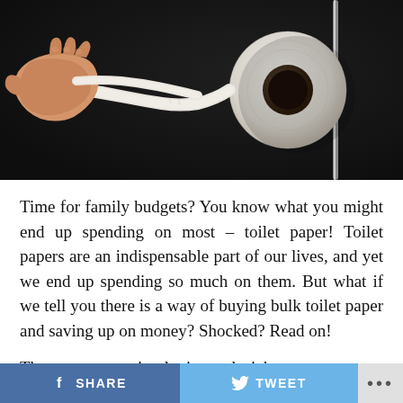[Figure (photo): A hand pulling toilet paper from a roll mounted on a chrome holder against a dark/black background.]
Time for family budgets? You know what you might end up spending on most – toilet paper! Toilet papers are an indispensable part of our lives, and yet we end up spending so much on them. But what if we tell you there is a way of buying bulk toilet paper and saving up on money? Shocked? Read on!
There are some simple tips and tricks you can use to save money on toilet paper. They won't compromise on your comfort and since they will help you save those...
SHARE   TWEET   ...